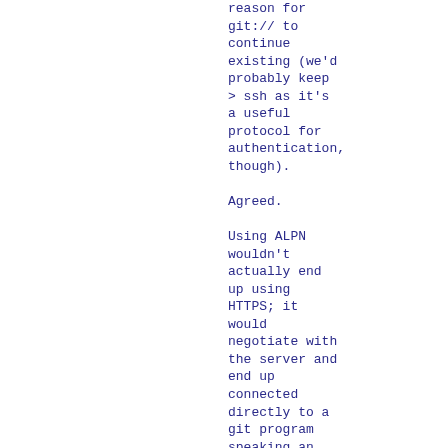reason for
git:// to
continue
existing (we'd
probably keep
> ssh as it's
a useful
protocol for
authentication,
though).
Agreed.
Using ALPN
wouldn't
actually end
up using
HTTPS; it
would
negotiate with
the server and
end up
connected
directly to a
git program
speaking an
arbitrary
protocol over
TLS.  Many web
servers